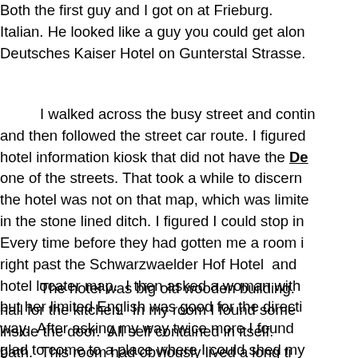Both the first guy and I got on at Frieburg. Italian. He looked like a guy you could get along with. Deutsches Kaiser Hotel on Gunterstal Strasse.
I walked across the busy street and continued and then followed the street car route. I figured hotel information kiosk that did not have the De one of the streets. That took a while to discern the hotel was not on that map, which was limited in the stone lined ditch. I figured I could stop in Every time before they had gotten me a room right past the Schwarzwaelder Hof Hotel and hotel locater map. I then asked a woman with but her limited English was good for the directi way. After asking my way twice more I found glad to come to a place where I could shed my
The hotel was big old wooden building. hall for the kitchen. In my room I found some inside the door. All self contained in itself. bath. This room had obviously lived a long ti